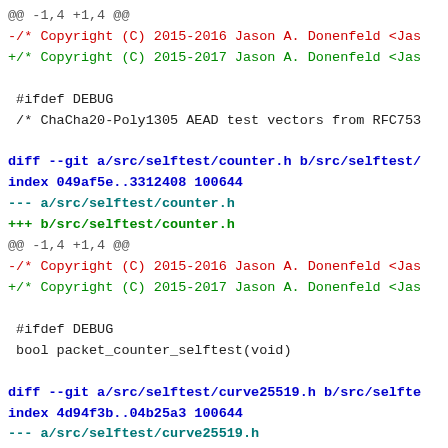@@ -1,4 +1,4 @@
-/* Copyright (C) 2015-2016 Jason A. Donenfeld <Jas
+/* Copyright (C) 2015-2017 Jason A. Donenfeld <Jas

 #ifdef DEBUG
 /* ChaCha20-Poly1305 AEAD test vectors from RFC753

diff --git a/src/selftest/counter.h b/src/selftest/
index 049af5e..3312408 100644
--- a/src/selftest/counter.h
+++ b/src/selftest/counter.h
@@ -1,4 +1,4 @@
-/* Copyright (C) 2015-2016 Jason A. Donenfeld <Jas
+/* Copyright (C) 2015-2017 Jason A. Donenfeld <Jas

 #ifdef DEBUG
 bool packet_counter_selftest(void)

diff --git a/src/selftest/curve25519.h b/src/selfte
index 4d94f3b..04b25a3 100644
--- a/src/selftest/curve25519.h
+++ b/src/selftest/curve25519.h
@@ -1,4 +1,4 @@
-/* Copyright (C) 2015-2016 Jason A. Donenfeld <Jas
+/* Copyright (C) 2015-2017 Jason A. Donenfeld <Jas

 #ifdef DEBUG